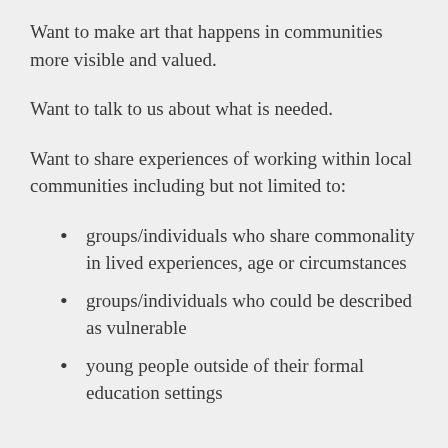Want to make art that happens in communities more visible and valued.
Want to talk to us about what is needed.
Want to share experiences of working within local communities including but not limited to:
groups/individuals who share commonality in lived experiences, age or circumstances
groups/individuals who could be described as vulnerable
young people outside of their formal education settings